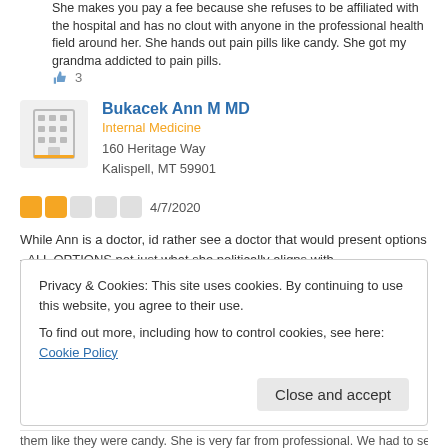She makes you pay a fee because she refuses to be affiliated with the hospital and has no clout with anyone in the professional health field around her. She hands out pain pills like candy. She got my grandma addicted to pain pills.
3 (thumbs up)
Bukacek Ann M MD
Internal Medicine
160 Heritage Way
Kalispell, MT 59901
4/7/2020 — 2 stars
While Ann is a doctor, id rather see a doctor that would present options - ALL OPTIONS not just what she politically aligns with.
Was this review ...?
Useful  Funny  Cool
Privacy & Cookies: This site uses cookies. By continuing to use this website, you agree to their use.
To find out more, including how to control cookies, see here: Cookie Policy
Close and accept
them like they were candy. She is very far from professional. We had to send my